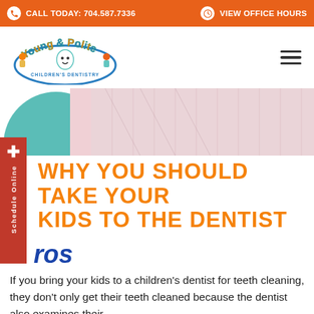CALL TODAY: 704.587.7336   VIEW OFFICE HOURS
[Figure (logo): Young & Polite Children's Dentistry logo with cartoon children characters]
[Figure (photo): Dental/teeth cleaning hero banner image with teal and pink tones]
WHY YOU SHOULD TAKE YOUR KIDS TO THE DENTIST
ros
If you bring your kids to a children’s dentist for teeth cleaning, they don’t only get their teeth cleaned because the dentist also examines their